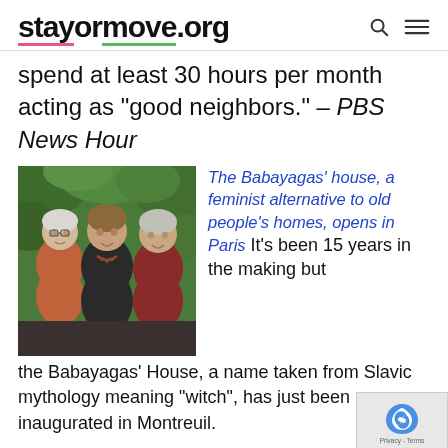stayormove.org
spend at least 30 hours per month acting as "good neighbors." – PBS News Hour
[Figure (photo): Three older women smiling together outdoors in front of green foliage, casually dressed]
The Babayagas' house, a feminist alternative to old people's homes, opens in Paris It's been 15 years in the making but the Babayagas' House, a name taken from Slavic mythology meaning "witch", has just been inaugurated in Montreuil.